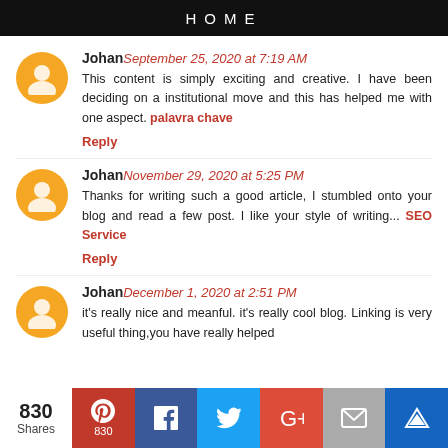HOME
Johan September 25, 2020 at 7:19 AM
This content is simply exciting and creative. I have been deciding on a institutional move and this has helped me with one aspect. palavra chave
Reply
Johan November 29, 2020 at 5:25 PM
Thanks for writing such a good article, I stumbled onto your blog and read a few post. I like your style of writing... SEO Service
Reply
Johan December 1, 2020 at 2:51 PM
it's really nice and meanful. it's really cool blog. Linking is very useful thing,you have really helped
830 Shares | Pinterest 830 | Facebook | Twitter | Google+ | Email | Crown